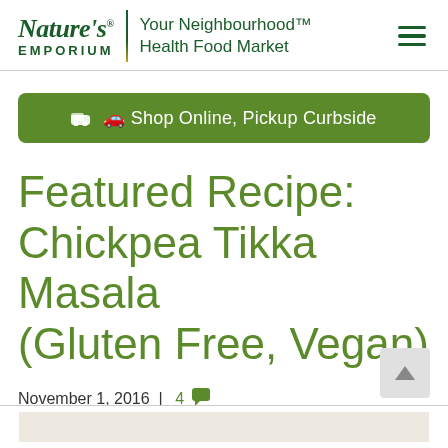Nature's EMPORIUM | Your Neighbourhood™ Health Food Market
Shop Online, Pickup Curbside
Featured Recipe: Chickpea Tikka Masala (Gluten Free, Vegan)
November 1, 2016 | 4 comments
[Figure (photo): Bottom image strip showing the beginning of a food photograph]